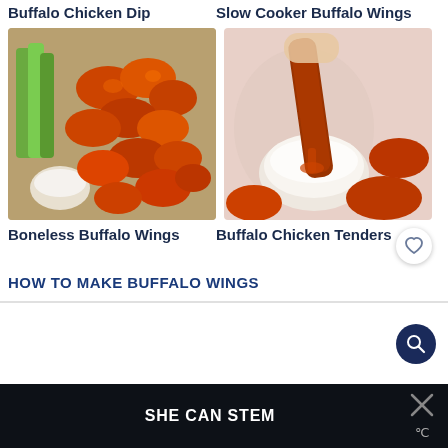Buffalo Chicken Dip
Slow Cooker Buffalo Wings
[Figure (photo): Boneless buffalo wings on a tray with celery and ranch dipping sauce]
[Figure (photo): Buffalo chicken tenders being dipped into white sauce]
Boneless Buffalo Wings
Buffalo Chicken Tenders
HOW TO MAKE BUFFALO WINGS
SHE CAN STEM